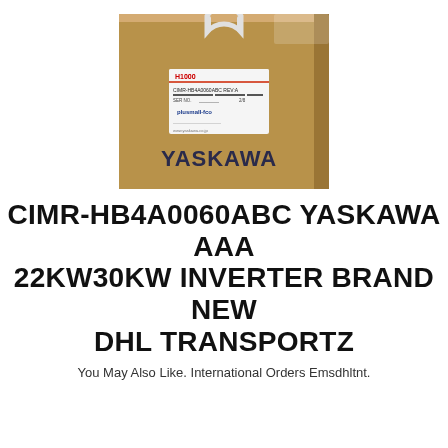[Figure (photo): A brown cardboard box with YASKAWA branding and a product label on the front, with a white handle/strap on top.]
CIMR-HB4A0060ABC YASKAWA AAA 22KW30KW INVERTER BRAND NEW DHL TRANSPORTZ
You May Also Like. International Orders Emsdhltnt.